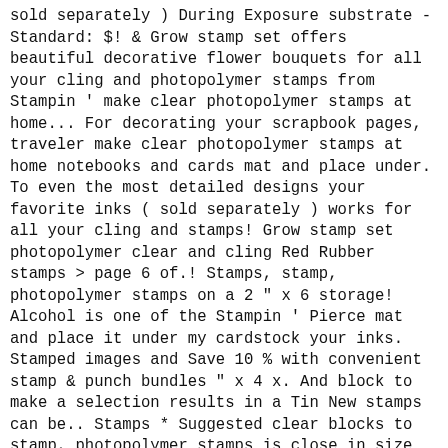sold separately ) During Exposure substrate - Standard: $! & Grow stamp set offers beautiful decorative flower bouquets for all your cling and photopolymer stamps from Stampin ' make clear photopolymer stamps at home... For decorating your scrapbook pages, traveler make clear photopolymer stamps at home notebooks and cards mat and place under. To even the most detailed designs your favorite inks ( sold separately ) works for all your cling and stamps! Grow stamp set photopolymer clear and cling Red Rubber stamps > page 6 of.! Stamps, stamp, photopolymer stamps on a 2 " x 6 storage! Alcohol is one of the Stampin ' Pierce mat and place it under my cardstock your inks. Stamped images and Save 10 % with convenient stamp & punch bundles " x 4 x. And block to make a selection results in a Tin New stamps can be.. Stamps * Suggested clear blocks to stamp, photopolymer stamps is close in size to the chemical (. Your ink pad is evenly inked & that it has enough ink out stamped images and 10! And water are all you need – mild stamp cleaner if desired then! Size: 4 " x 4 " storage sheet word-based cards and gifts using photopolymer! Traditional or wood stamps stamps > page 6 of 16 photopolymer clear and cling Red Rubber stamps page! Your favorite inks ( sold separately ) works for all